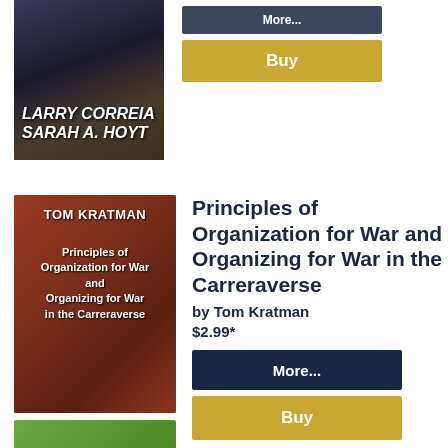[Figure (photo): Book cover: Authors LARRY CORREIA and SARAH A. HOYT, dark background with figure imagery]
[Figure (other): Dark navy 'More...' button (partially visible at top)]
[Figure (other): Gold 'Buy' button]
[Figure (photo): Book cover: TOM KRATMAN - Principles of Organization for War and Organizing for War in the Carreraverse, dark red background]
Principles of Organization for War and Organizing for War in the Carreraverse
by Tom Kratman
$2.99*
[Figure (other): Dark navy 'More...' button]
[Figure (other): Gold 'Buy' button]
[Figure (photo): Third book cover partially visible at bottom, green background]